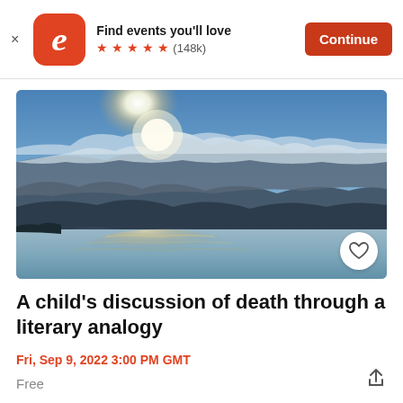Find events you'll love ★★★★★ (148k) Continue
[Figure (photo): Dramatic seascape with cloudy sky and sun glare over calm water, coastal headland visible on the left]
A child's discussion of death through a literary analogy
Fri, Sep 9, 2022 3:00 PM GMT
Free